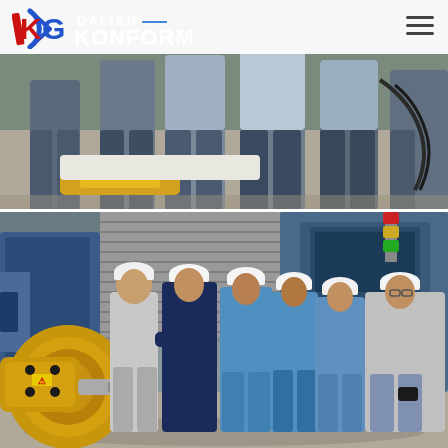DALIAN KONFORM
[Figure (photo): Top portion: group of people standing in a factory/industrial setting, showing their lower bodies and legs, with industrial equipment visible on the floor including what appears to be battery or flat components on the ground.]
[Figure (photo): Bottom photo: six workers in an industrial factory wearing hard hats and work uniforms, standing in front of blue heavy machinery. A yellow industrial component (extrusion press or hydraulic unit) is prominent in the foreground left. Industrial equipment and factory floor visible in background.]